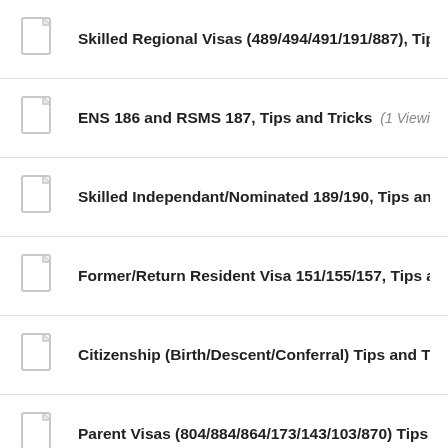Skilled Regional Visas (489/494/491/191/887), Tips and Tr...
ENS 186 and RSMS 187, Tips and Tricks (1 Viewing)
Skilled Independant/Nominated 189/190, Tips and Trick...
Former/Return Resident Visa 151/155/157, Tips and Tric...
Citizenship (Birth/Descent/Conferral) Tips and Tricks
Parent Visas (804/884/864/173/143/103/870) Tips and Tri...